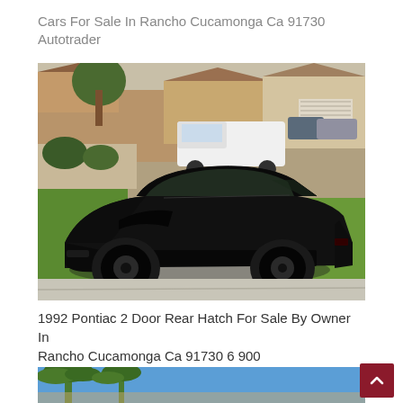Cars For Sale In Rancho Cucamonga Ca 91730 Autotrader
[Figure (photo): A black 1992 Pontiac Firebird / Trans Am 2-door coupe parked in a residential driveway, viewed from the front-left angle. Background shows suburban homes, green lawn, and a white pickup truck. Evening/dusk lighting.]
1992 Pontiac 2 Door Rear Hatch For Sale By Owner In Rancho Cucamonga Ca 91730 6 900
[Figure (photo): Bottom portion of a second car listing photo showing palm trees and blue sky, partially cropped.]